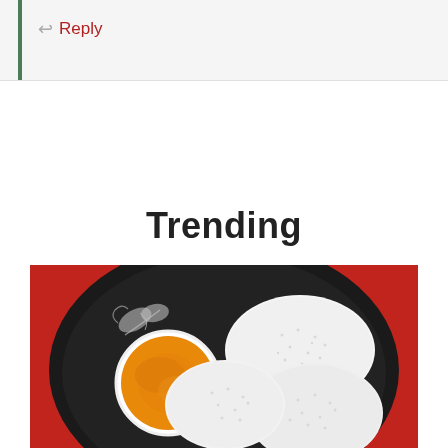Reply
Trending
[Figure (photo): Overhead view of idli (white steamed rice cakes) served on a black plate with orange chutney in a white bowl, placed on a red cloth background]